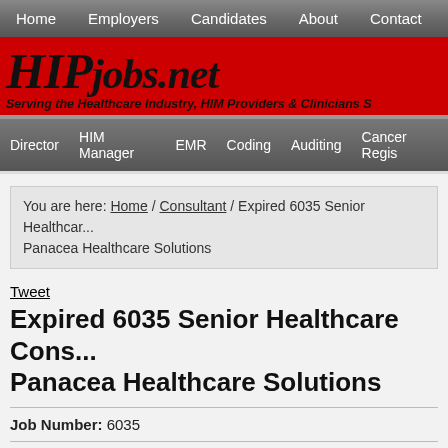Home  Employers  Candidates  About  Contact
[Figure (logo): HIPjobs.net logo on red background with tagline: Serving the Healthcare Industry, HIM Providers & Clinicians]
Director  HIM Manager  EMR  Coding  Auditing  Cancer Regis
You are here: Home / Consultant / Expired 6035 Senior Healthcare Panacea Healthcare Solutions
Tweet
Expired 6035 Senior Healthcare Cons... Panacea Healthcare Solutions
Job Number: 6035
Area: Your Home Office - Some Travel
Job: 6035 Senior Panacea Healthcare Solutions...